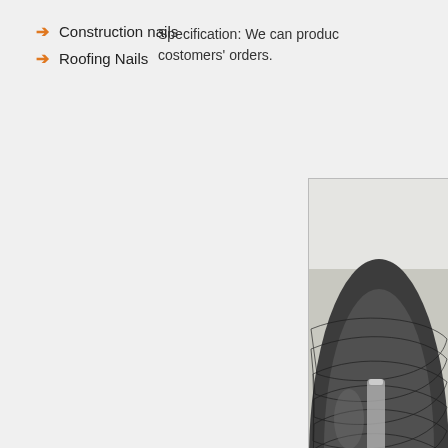Construction nails
Roofing Nails
Specification: We can produce costomers' orders.
[Figure (photo): A large coil of black iron/steel wire on a white surface]
[Figure (photo): Green PVC coated wire and galvanized wire coils stacked together]